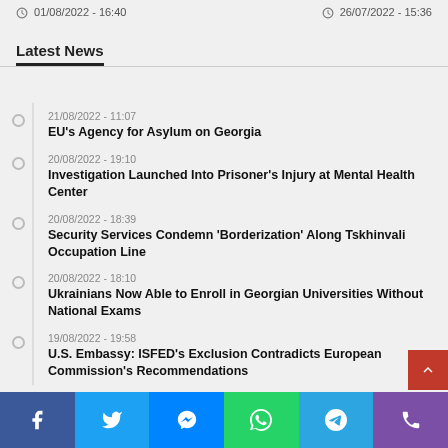01/08/2022 - 16:40    26/07/2022 - 15:36
Latest News
21/08/2022 - 11:07
EU's Agency for Asylum on Georgia
20/08/2022 - 19:10
Investigation Launched Into Prisoner's Injury at Mental Health Center
20/08/2022 - 18:39
Security Services Condemn 'Borderization' Along Tskhinvali Occupation Line
20/08/2022 - 18:10
Ukrainians Now Able to Enroll in Georgian Universities Without National Exams
19/08/2022 - 19:58
U.S. Embassy: ISFED's Exclusion Contradicts European Commission's Recommendations
Social share buttons: Facebook, Twitter, Messenger, WhatsApp, Telegram, Phone